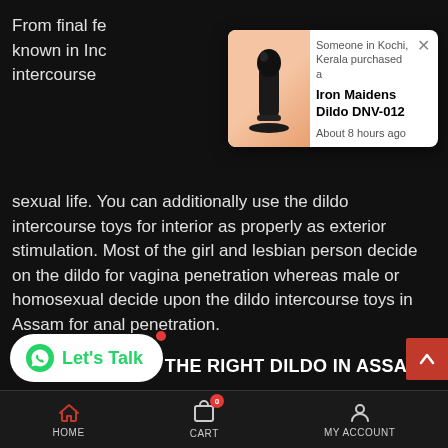From final fe known in Inc intercourse sexual life. You can additionally use the dildo intercourse toys for interior as properly as exterior stimulation. Most of the girl and lesbian person decide on the dildo for vagina penetration whereas male or homosexual decide upon the dildo intercourse toys in Assam for anal penetration.
[Figure (screenshot): Popup notification showing someone in Kochi, Kerala purchased Iron Maidens Dildo DNV-012 about 8 hours ago, with product image]
WHERE TO FIND THE RIGHT DILDO IN ASSAM?
An the remaining question. Where to discover the proper dildo in Assam? Well, honestly, Online
[Figure (other): Let's Talk WhatsApp button]
HOME   CART   MY ACCOUNT